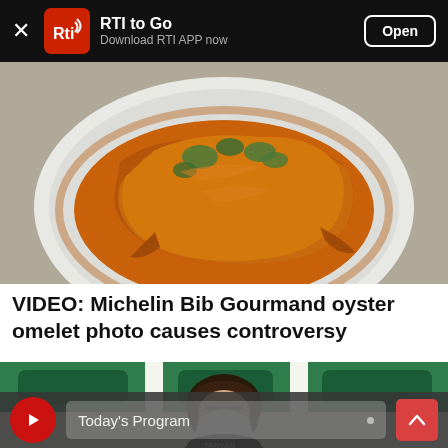RTI to Go — Download RTI APP now
[Figure (photo): Photo of a Michelin Bib Gourmand oyster omelet served on a white plate, covered in orange-brown sauce with green vegetables visible]
VIDEO: Michelin Bib Gourmand oyster omelet photo causes controversy
[Figure (screenshot): Video thumbnail showing a woman wearing a face mask in front of a green and white background, with a video player overlay showing Today's Program]
Today's Program